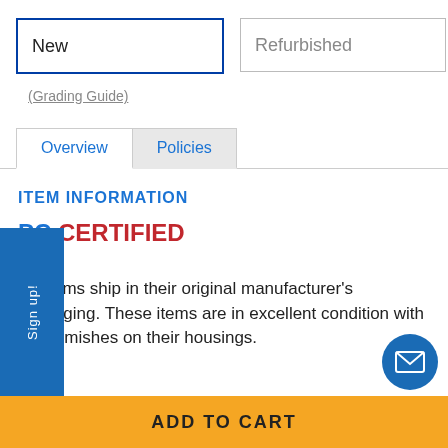New
Refurbished
(Grading Guide)
Overview
Policies
ITEM INFORMATION
PC CERTIFIED
New
ew items ship in their original manufacturer's packaging. These items are in excellent condition with no blemishes on their housings.
Sign up!
ADD TO CART